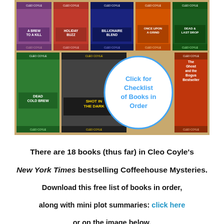[Figure (illustration): Collage of book covers from Cleo Coyle's Coffeehouse Mysteries series, arranged in a grid. Bottom center features a circular badge reading 'Click for Checklist of Books in Order'. Titles visible include: A Brew to a Kill, Holiday Buzz, Billionaire Blend, Once Upon a Grind, Dead to the Last Drop, Dead Cold Brew, Shot in the Dark, The Ghost and the Bogus Bestseller.]
There are 18 books (thus far) in Cleo Coyle's New York Times bestselling Coffeehouse Mysteries. Download this free list of books in order, along with mini plot summaries: click here or on the image below.